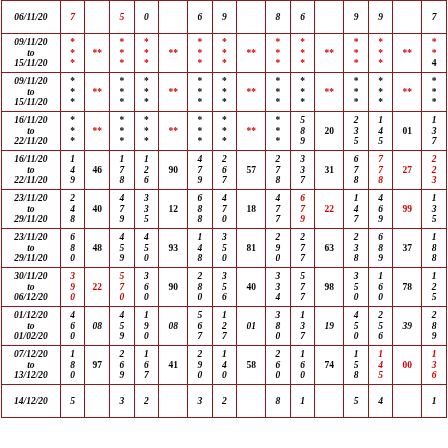| Date |  |  |  |  |  |  |  |  |  |  |  |  |  |  |  |  |
| --- | --- | --- | --- | --- | --- | --- | --- | --- | --- | --- | --- | --- | --- | --- | --- | --- |
| 06/11/20 | 7 |  | 5 | 0 |  | 6 | 9 |  | 8 | 6 |  | 9 | 9 |  | 7 |
| 09/11/20 to 15/11/20 | */**/* | ** | */*/**/* | ** | */*/**/* | ** | */*/**/* | */*/**/* | ** | */*/**/* | ** | */*/**/* | ** | */*/**/* | *
4 |
| 09/11/20 to 15/11/20 | */**/* | ** | */*/**/* | ** | */*/**/* | ** | */*/**/* | */*/**/* | ** | */*/**/* | ** | */*/**/* | ** | */*/**/* | */* |
| 16/11/20 to 22/11/20 | */**/* | ** | */*/**/* | ** | */*/**/* | ** | */5
*/8
*/9 | 20 | 2 1
3 4
5 5 | 01 | 1
3
7 |
| 16/11/20 to 22/11/20 | 1
4
9 | 46 | 1 1
7 2
8 6 | 90 | 4 2
7 6
9 7 | 57 | 2 3
7 3
8 7 | 31 | 6 7
7 7
8 8 | 27 | 2
2
3 |
| 23/11/20 to 29/11/20 | 2
4
8 | 40 | 4 3
7 3
9 5 | 12 | 6 4
8 7
8 0 | 18 | 4 6
7 7
7 9 | 22 | 1 4
4 6
7 9 | 99 | 1
3
5 |
| 23/11/20 to 29/11/20 | 6
8
0 | 48 | 4 4
5 5
9 0 | 93 | 1 3
4 5
8 0 | 81 | 2 2
9 7
0 7 | 63 | 2 6
3 8
8 9 | 37 | 1
8
8 |
| 30/11/20 to 06/12/20 | 3
9
0 | 22 | 5 3
7 6
0 0 | 90 | 2 3
8 5
0 6 | 40 | 3 5
3 7
4 7 | 98 | 3 1
5 6
0 0 | 78 | 1
2
5 |
| 01/12/20 to 01/02/20 | 4
6
0 | 08 | 4 1
5 9
9 0 | 08 | 5 1
6 2
7 7 | 01 | 3 1
8 3
0 7 | 19 | 4 2
5 5
0 6 | 39 | 2
8
9 |
| 07/12/20 to 13/12/20 | 1
8
0 | 97 | 2 1
6 6
9 7 | 41 | 2 1
9 4
0 0 | 58 | 2 1
6 6
0 0 | 74 | 1 1
5 4
8 5 | 00 | 1
3
6 |
| 14/12/20 | 5 |  | 3 | 2 |  | 3 | 2 |  | 8 | 1 |  | 5 | 4 |  | 1 |